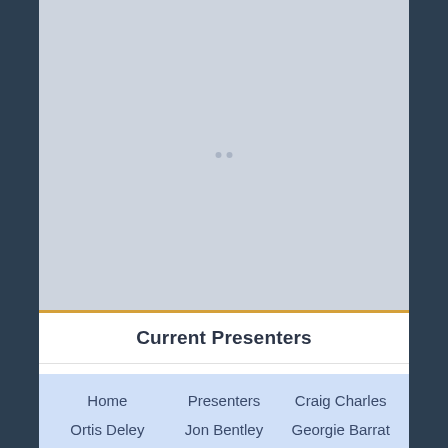[Figure (photo): Large gray placeholder image area with two small loading dots in the center]
Current Presenters
Home    Presenters    Craig Charles
Ortis Deley    Jon Bentley    Georgie Barrat